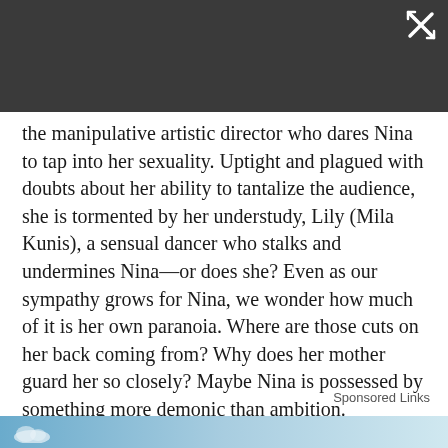[Figure (screenshot): Dark grey top bar with white close/expand icon in upper right corner]
the manipulative artistic director who dares Nina to tap into her sexuality. Uptight and plagued with doubts about her ability to tantalize the audience, she is tormented by her understudy, Lily (Mila Kunis), a sensual dancer who stalks and undermines Nina—or does she? Even as our sympathy grows for Nina, we wonder how much of it is her own paranoia. Where are those cuts on her back coming from? Why does her mother guard her so closely? Maybe Nina is possessed by something more demonic than ambition.
Sponsored Links
[Figure (photo): Blue sky/cloud banner at bottom of page]